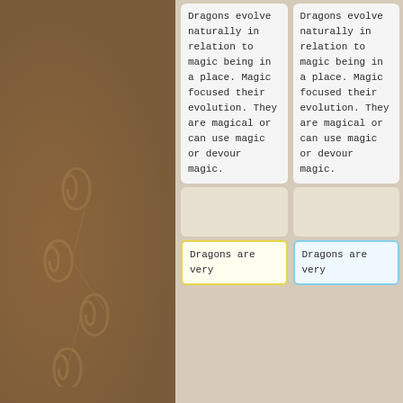Dragons evolve naturally in relation to magic being in a place. Magic focused their evolution. They are magical or can use magic or devour magic.
Dragons evolve naturally in relation to magic being in a place. Magic focused their evolution. They are magical or can use magic or devour magic.
Dragons are very
Dragons are very